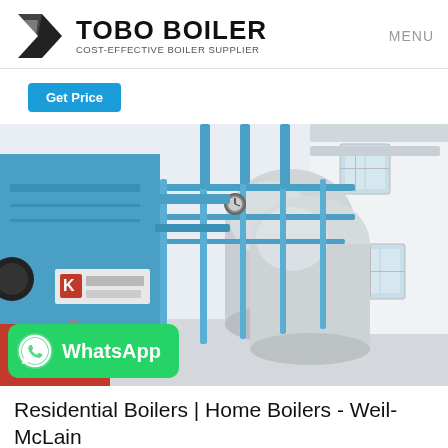TOBO BOILER COST-EFFECTIVE BOILER SUPPLIER MENU
Get Price
[Figure (photo): Industrial boiler equipment in a factory setting. Large blue boiler unit on the left and cylindrical silver/white boiler drums on the right, connected by blue metal piping and scaffolding. Red burner equipment visible at bottom left. Chinese text visible on a sign on the boiler.]
WhatsApp
Residential Boilers | Home Boilers - Weil-McLain